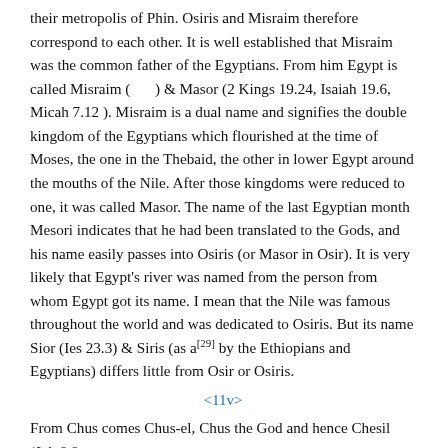their metropolis of Phin. Osiris and Misraim therefore correspond to each other. It is well established that Misraim was the common father of the Egyptians. From him Egypt is called Misraim ( ) & Masor (2 Kings 19.24, Isaiah 19.6, Micah 7.12 ). Misraim is a dual name and signifies the double kingdom of the Egyptians which flourished at the time of Moses, the one in the Thebaid, the other in lower Egypt around the mouths of the Nile. After those kingdoms were reduced to one, it was called Masor. The name of the last Egyptian month Mesori indicates that he had been translated to the Gods, and his name easily passes into Osiris (or Masor in Osir). It is very likely that Egypt's river was named from the person from whom Egypt got its name. I mean that the Nile was famous throughout the world and was dedicated to Osiris. But its name Sior (Ies 23.3) & Siris (as a[29] by the Ethiopians and Egyptians) differs little from Osir or Osiris.
<11v>
From Chus comes Chus-el, Chus the God and hence Chesil (Job 9.9